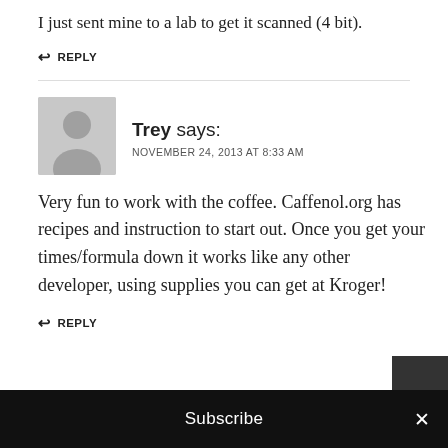I just sent mine to a lab to get it scanned (4 bit).
REPLY
Trey says: NOVEMBER 24, 2013 AT 8:33 AM
Very fun to work with the coffee. Caffenol.org has recipes and instruction to start out. Once you get your times/formula down it works like any other developer, using supplies you can get at Kroger!
REPLY
Subscribe ×